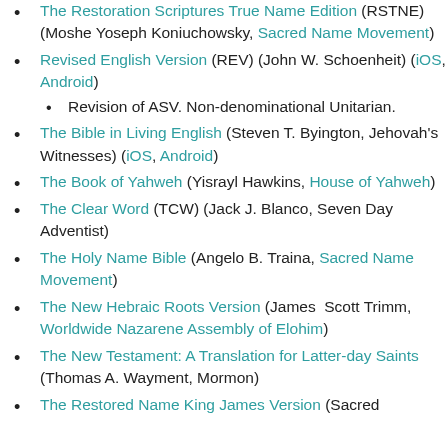The Restoration Scriptures True Name Edition (RSTNE) (Moshe Yoseph Koniuchowsky, Sacred Name Movement)
Revised English Version (REV) (John W. Schoenheit) (iOS, Android)
Revision of ASV. Non-denominational Unitarian.
The Bible in Living English (Steven T. Byington, Jehovah's Witnesses) (iOS, Android)
The Book of Yahweh (Yisrayl Hawkins, House of Yahweh)
The Clear Word (TCW) (Jack J. Blanco, Seven Day Adventist)
The Holy Name Bible (Angelo B. Traina, Sacred Name Movement)
The New Hebraic Roots Version (James Scott Trimm, Worldwide Nazarene Assembly of Elohim)
The New Testament: A Translation for Latter-day Saints (Thomas A. Wayment, Mormon)
The Restored Name King James Version (Sacred